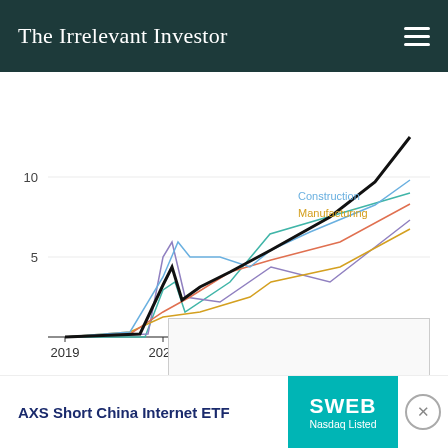The Irrelevant Investor
[Figure (line-chart): Multi-series line chart showing wage growth (%) from 2019 to 2022 across several sectors. A thick black line represents the overall trend, rising steeply from near 0 in 2019 to about 15 by 2022. Other colored lines represent Construction (blue), Manufacturing (gold/yellow), and other sectors (orange, teal, purple). Y-axis shows values 5 and 10. X-axis shows years 2019, 2020, 2021, 2022.]
Data is seasonally adjusted. Not adjusted for inflation. · Source: Bureau of Labor Statistics · By The New York Times
[Figure (other): Empty advertisement placeholder box with light border]
[Figure (other): Advertisement banner: AXS Short China Internet ETF · SWEB Nasdaq Listed]